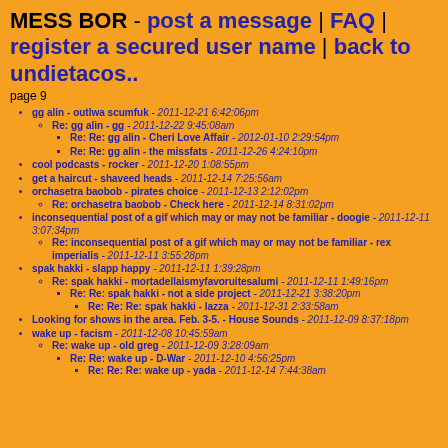MESS BOR - post a message | FAQ | register a secured user name | back to undietacos..
page 9
gg alin - outlwa scumfuk - 2011-12-21 6:42:06pm
Re: gg alin - gg - 2011-12-22 9:45:08am
Re: Re: gg alin - Cheri Love Affair - 2012-01-10 2:29:54pm
Re: Re: gg alin - the missfats - 2011-12-26 4:24:10pm
cool podcasts - rocker - 2011-12-20 1:08:55pm
get a haircut - shaveed heads - 2011-12-14 7:25:56am
orchasetra baobob - pirates choice - 2011-12-13 2:12:02pm
Re: orchasetra baobob - Check here - 2011-12-14 8:31:02pm
inconsequential post of a gif which may or may not be familiar - doogie - 2011-12-11 3:07:34pm
Re: inconsequential post of a gif which may or may not be familiar - rex imperialis - 2011-12-11 3:55:28pm
spak hakki - slapp happy - 2011-12-11 1:39:28pm
Re: spak hakki - mortadellaismyfavoruitesalumi - 2011-12-11 1:49:16pm
Re: Re: spak hakki - not a side project - 2011-12-21 3:38:20pm
Re: Re: Re: spak hakki - lazza - 2011-12-31 2:33:58am
Looking for shows in the area. Feb. 3-5. - House Sounds - 2011-12-09 8:37:18pm
wake up - facism - 2011-12-08 10:45:59am
Re: wake up - old greg - 2011-12-09 3:28:09am
Re: Re: wake up - D-War - 2011-12-10 4:56:25pm
Re: Re: Re: wake up - yada - 2011-12-14 7:44:38am